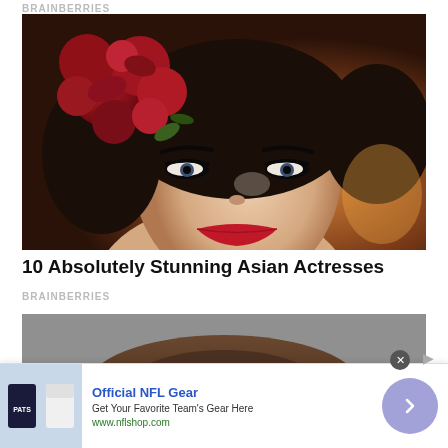BRAINBERRIES
[Figure (photo): Close-up portrait of a woman with dark hair adorned with large red roses, bold makeup including smokey eyes and bright red lips, warm bokeh background]
10 Absolutely Stunning Asian Actresses
BRAINBERRIES
[Figure (photo): Partial top of a person's head with dark brown hair, gray background]
[Figure (photo): NFL gear advertisement image showing sports jerseys]
Official NFL Gear
Get Your Favorite Team's Gear Here
www.nflshop.com